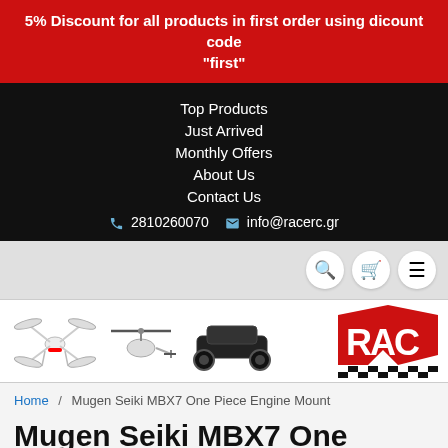5% Discount for all products in first order using dicount code "first"
Top Products
Just Arrived
Monthly Offers
About Us
Contact Us
📞 2810260070   ✉ info@racerc.gr
[Figure (screenshot): Navigation icon buttons: search (magnifier), cart, hamburger menu]
[Figure (logo): Website logo banner showing RC drone, helicopter, RC car, and RAC logo in red and black]
Home / Mugen Seiki MBX7 One Piece Engine Mount
Mugen Seiki MBX7 One Piece